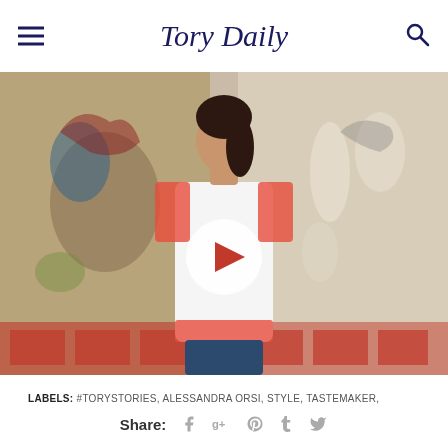Tory Daily
[Figure (photo): Woman wearing a white top with red embroidery standing in front of decorative painted panels with birds and animals. A circular white play button overlay is centered on the image.]
LABELS: #TORYSTORIES, ALESSANDRA ORSI, STYLE, TASTEMAKER,
Share: f g+ p t bird-icon